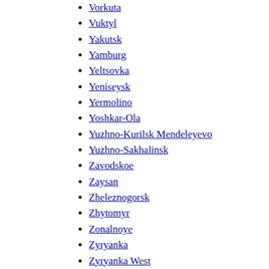Vorkuta
Vuktyl
Yakutsk
Yamburg
Yeltsovka
Yeniseysk
Yermolino
Yoshkar-Ola
Yuzhno-Kurilsk Mendeleyevo
Yuzhno-Sakhalinsk
Zavodskoe
Zaysan
Zheleznogorsk
Zhytomyr
Zonalnoye
Zyryanka
Zyryanka West
International
Bălți
Cahul
Dnipro
Donetsk
Havryshivka Vinnytsia
Luhansk
Chernihiv Shostovytsia